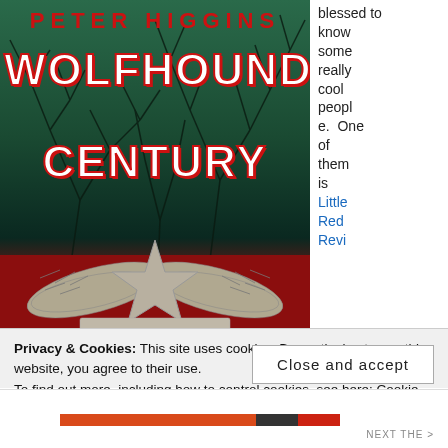[Figure (illustration): Book cover for 'Wolfhound Century' by Peter Higgins. Dark atmospheric cover with teal/green tones showing bare trees, a large red star with wings at the bottom, author name in red uppercase letters at the top, and the title 'WOLFHOUND CENTURY' in large white/red outlined block letters.]
blessed to know some really cool people. One of them is Little Red Revi...
Privacy & Cookies: This site uses cookies. By continuing to use this website, you agree to their use.
To find out more, including how to control cookies, see here: Cookie Policy
Close and accept